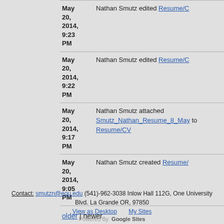| Date | Action |
| --- | --- |
| May 20, 2014, 9:23 PM | Nathan Smutz edited Resume/C… |
| May 20, 2014, 9:22 PM | Nathan Smutz edited Resume/C… |
| May 20, 2014, 9:17 PM | Nathan Smutz attached Smutz_Nathan_Resume_8_May… to Resume/CV |
| May 20, 2014, 9:05 PM | Nathan Smutz created Resume/… |
older | newer
Contact: smutzn@eou.edu (541)-962-3038 Inlow Hall 112G, One University Blvd. La Grande OR, 97850
View as Desktop   My Sites
Powered By  Google Sites